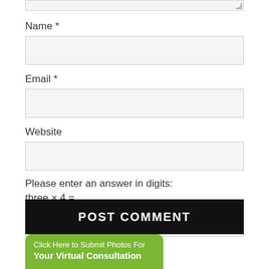Name *
Email *
Website
Please enter an answer in digits:
three × 4 =
POST COMMENT
Click Here to Submit Photos For Your Virtual Consultation